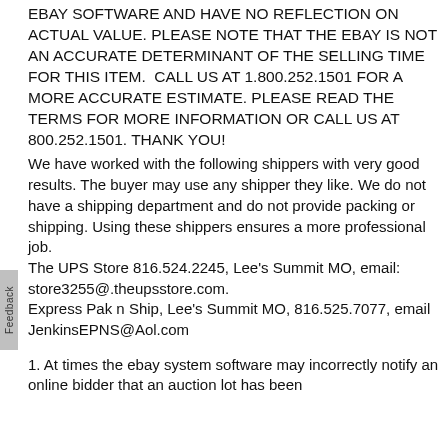EBAY SOFTWARE AND HAVE NO REFLECTION ON ACTUAL VALUE. PLEASE NOTE THAT THE EBAY IS NOT AN ACCURATE DETERMINANT OF THE SELLING TIME FOR THIS ITEM.  CALL US AT 1.800.252.1501 FOR A MORE ACCURATE ESTIMATE. PLEASE READ THE TERMS FOR MORE INFORMATION OR CALL US AT 800.252.1501. THANK YOU!
We have worked with the following shippers with very good results. The buyer may use any shipper they like. We do not have a shipping department and do not provide packing or shipping. Using these shippers ensures a more professional job. The UPS Store 816.524.2245, Lee's Summit MO, email: store3255@.theupsstore.com. Express Pak n Ship, Lee's Summit MO, 816.525.7077, email JenkinsEPNS@Aol.com
1. At times the ebay system software may incorrectly notify an online bidder that an auction lot has been